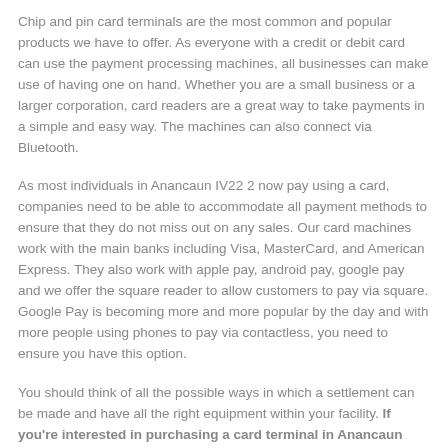Chip and pin card terminals are the most common and popular products we have to offer. As everyone with a credit or debit card can use the payment processing machines, all businesses can make use of having one on hand. Whether you are a small business or a larger corporation, card readers are a great way to take payments in a simple and easy way. The machines can also connect via Bluetooth.
As most individuals in Anancaun IV22 2 now pay using a card, companies need to be able to accommodate all payment methods to ensure that they do not miss out on any sales. Our card machines work with the main banks including Visa, MasterCard, and American Express. They also work with apple pay, android pay, google pay and we offer the square reader to allow customers to pay via square. Google Pay is becoming more and more popular by the day and with more people using phones to pay via contactless, you need to ensure you have this option.
You should think of all the possible ways in which a settlement can be made and have all the right equipment within your facility. If you're interested in purchasing a card terminal in Anancaun